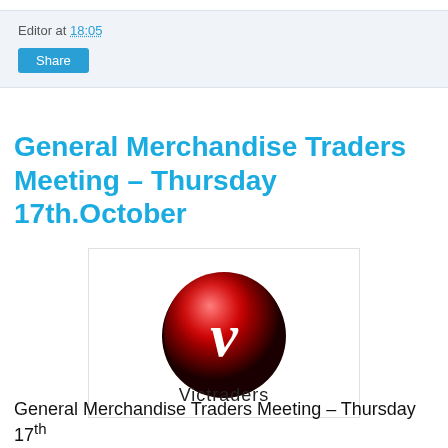Editor at 18:05
Share
General Merchandise Traders Meeting – Thursday 17th.October
[Figure (logo): Victraders logo: a red and black glossy sphere with a white stylized letter V, and the word 'Victraders' in dark text below the sphere.]
General Merchandise Traders Meeting – Thursday 17th